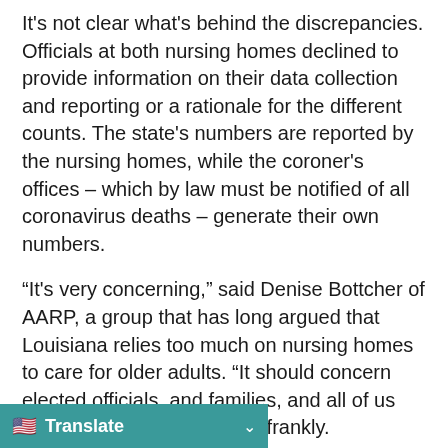It's not clear what's behind the discrepancies. Officials at both nursing homes declined to provide information on their data collection and reporting or a rationale for the different counts. The state's numbers are reported by the nursing homes, while the coroner's offices – which by law must be notified of all coronavirus deaths – generate their own numbers.
“It's very concerning,” said Denise Bottcher of AARP, a group that has long argued that Louisiana relies too much on nursing homes to care for older adults. “It should concern elected officials, and families, and all of us who plan to get older, quite frankly.
“Our strategies are only as good as our data. If deaths are being underreported, for whatever reason. The question is, do we answer is no, we just don’t